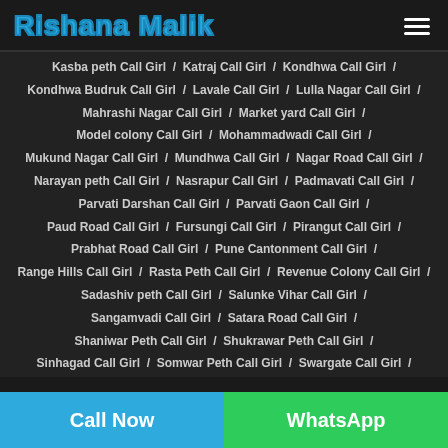Rishana Malik
Kasba peth Call Girl / Katraj Call Girl / Kondhwa Call Girl /
Kondhwa Budruk Call Girl / Lavale Call Girl / Lulla Nagar Call Girl /
Mahrashi Nagar Call Girl / Market yard Call Girl /
Model colony Call Girl / Mohammadwadi Call Girl /
Mukund Nagar Call Girl / Mundhwa Call Girl / Nagar Road Call Girl /
Narayan peth Call Girl / Nasrapur Call Girl / Padmavati Call Girl /
Parvati Darshan Call Girl / Parvati Gaon Call Girl /
Paud Road Call Girl / Fursungi Call Girl / Pirangut Call Girl /
Prabhat Road Call Girl / Pune Cantonment Call Girl /
Range Hills Call Girl / Rasta Peth Call Girl / Revenue Colony Call Girl /
Sadashiv peth Call Girl / Salunke Vihar Call Girl /
Sangamvadi Call Girl / Satara Road Call Girl /
Shaniwar Peth Call Girl / Shukrawar Peth Call Girl /
Sinhagad Call Girl / Somwar Peth Call Girl / Swargate Call Girl /
Call Now | WhatsApp